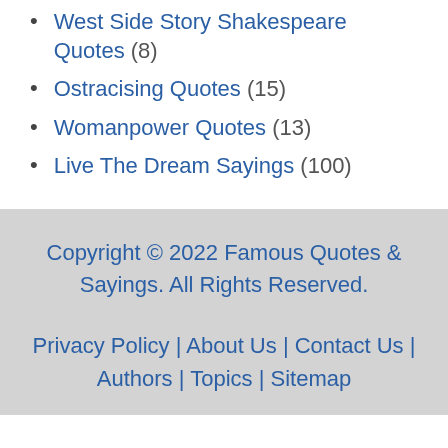West Side Story Shakespeare Quotes (8)
Ostracising Quotes (15)
Womanpower Quotes (13)
Live The Dream Sayings (100)
Copyright © 2022 Famous Quotes & Sayings. All Rights Reserved. Privacy Policy | About Us | Contact Us | Authors | Topics | Sitemap